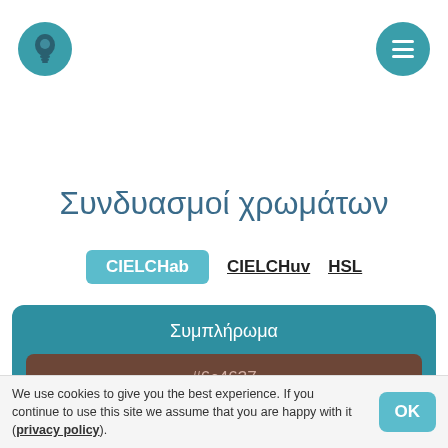[Figure (illustration): Teal circular button with lightbulb icon, top-left corner]
[Figure (illustration): Teal circular button with hamburger menu icon, top-right corner]
Συνδυασμοί χρωμάτων
CIELCHab   CIELCHuv   HSL
Συμπλήρωμα
#6c4637
Ανάλογο
We use cookies to give you the best experience. If you continue to use this site we assume that you are happy with it (privacy policy).